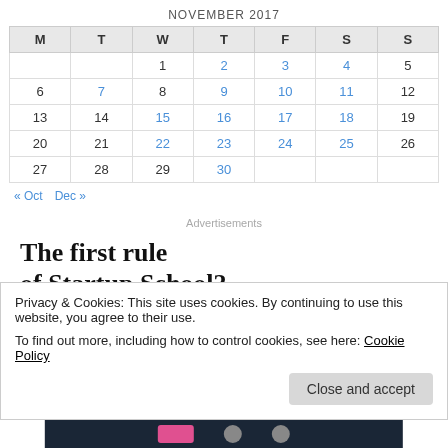NOVEMBER 2017
| M | T | W | T | F | S | S |
| --- | --- | --- | --- | --- | --- | --- |
|  |  | 1 | 2 | 3 | 4 | 5 |
| 6 | 7 | 8 | 9 | 10 | 11 | 12 |
| 13 | 14 | 15 | 16 | 17 | 18 | 19 |
| 20 | 21 | 22 | 23 | 24 | 25 | 26 |
| 27 | 28 | 29 | 30 |  |  |  |
« Oct   Dec »
Advertisements
The first rule of Startup School?
Privacy & Cookies: This site uses cookies. By continuing to use this website, you agree to their use.
To find out more, including how to control cookies, see here: Cookie Policy